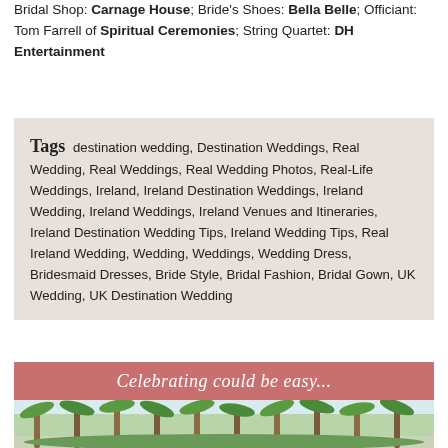Bridal Shop: Carnage House; Bride's Shoes: Bella Belle; Officiant: Tom Farrell of Spiritual Ceremonies; String Quartet: DH Entertainment
Tags destination wedding, Destination Weddings, Real Wedding, Real Weddings, Real Wedding Photos, Real-Life Weddings, Ireland, Ireland Destination Weddings, Ireland Wedding, Ireland Weddings, Ireland Venues and Itineraries, Ireland Destination Wedding Tips, Ireland Wedding Tips, Real Ireland Wedding, Wedding, Weddings, Wedding Dress, Bridesmaid Dresses, Bride Style, Bridal Fashion, Bridal Gown, UK Wedding, UK Destination Wedding
[Figure (illustration): Promotional banner with pink background showing cursive text 'Celebrating could be easy...' above a photo of palm trees and outdoor wedding decoration.]